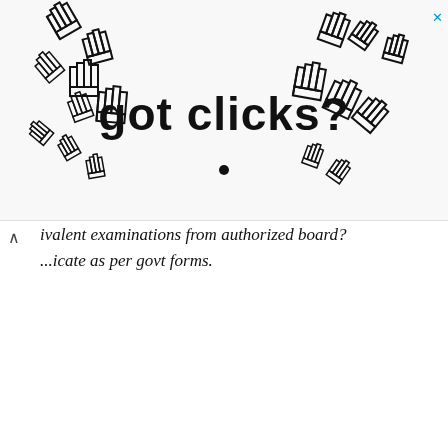[Figure (illustration): Advertisement banner with 'got clicks?' text and multiple pixel-art pointing hand cursor icons arranged around the text. An X close button appears in top right corner.]
ivalent examinations from authorized board? ...icate as per govt forms.